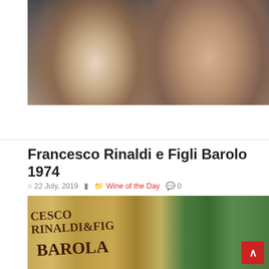[Figure (photo): Two people at a table, a man with dark hair in profile on the left and a smiling woman with curly hair on the right, in a restaurant setting]
Read More »
Francesco Rinaldi e Figli Barolo 1974
22 July, 2019   Wine of the Day   0
[Figure (photo): Close-up of a wine bottle label reading CESCO RINALDI & FIG and BAROLO, with a green bottle visible on the right side]